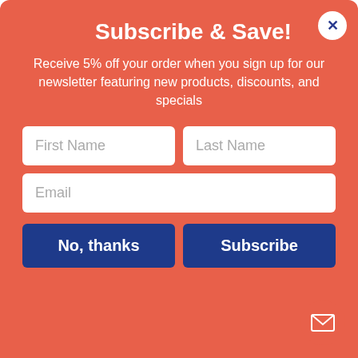Subscribe & Save!
Receive 5% off your order when you sign up for our newsletter featuring new products, discounts, and specials
[Figure (screenshot): A web modal popup with coral/salmon background containing a newsletter signup form with First Name, Last Name, Email fields and No thanks / Subscribe buttons, and a close X button in top right corner]
McCormick Spice No Msg 0 oz. Herbs De Provence
Herbes de Provence is a traditional blend of herbs commonly used in Southern French cuisine.
Herbes de Provence is a blend of rosemary, marjoram, thyme, sage, anise seed, and savory.
Try on salmon and scallop ceviche or create an intriguing new appetizer feature with herbes de Provence popcorn.
Benefits
The benefit of spices, herbs, and blended seasonings is in their contribution to the flavor and appeal of foods and not in their nutritional content.